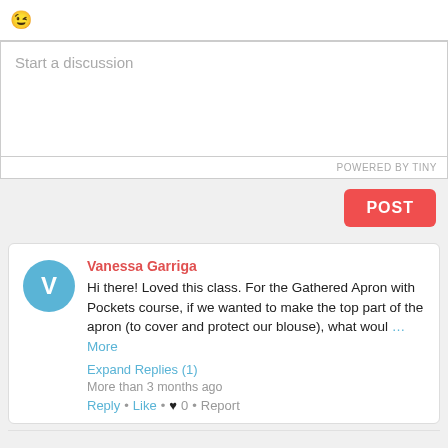[Figure (other): Emoji smiley face icon in toolbar]
Start a discussion
POWERED BY TINY
POST
Vanessa Garriga
Hi there! Loved this class. For the Gathered Apron with Pockets course, if we wanted to make the top part of the apron (to cover and protect our blouse), what woul … More
Expand Replies (1)
More than 3 months ago
Reply • Like • ♥ 0 • Report